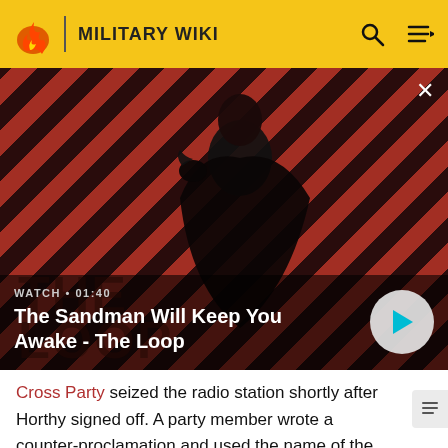MILITARY WIKI
[Figure (screenshot): Video thumbnail with diagonal red and dark stripe background, a dark-clothed figure with a bird on shoulder, title overlay: 'The Sandman Will Keep You Awake - The Loop', watch label: 'WATCH • 01:40', play button circle on right]
Cross Party seized the radio station shortly after Horthy signed off. A party member wrote a counter-proclamation and used the name of the Hungarian Army's Chief of the General Staff, General Vörös. The commanding officer and his assistant of the two remaining Hungarian army units in Budapest were arrested or disappeared, and their